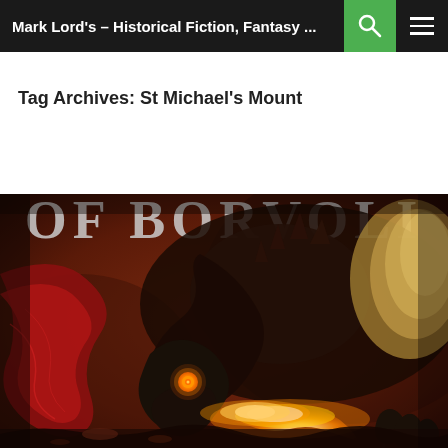Mark Lord's – Historical Fiction, Fantasy ...
Tag Archives: St Michael's Mount
[Figure (illustration): Fantasy book cover illustration showing a dark dragon with glowing orange eyes breathing fire, with red wings, set against a warm reddish-brown background. Partial text 'OF BORVOLI' visible at the top.]